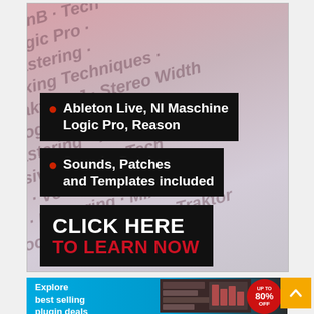[Figure (infographic): Advertisement banner for music production tutorials. Background with diagonal watermark text listing topics: DnB, Tech, Logic, Mastering, Mixing Techniques, Traktor DJ, Stereo Width, Logic, Technic. Overlay text boxes on black background listing: bullet point 'Ableton Live, NI Maschine Logic Pro, Reason', bullet point 'Sounds, Patches and Templates included', and a call-to-action button 'CLICK HERE TO LEARN NOW']
[Figure (infographic): Advertisement banner for plugin deals: 'Explore best selling plugin deals' on cyan/blue background with dark screenshot of software and red circular badge saying 'UP TO 80% OFF']
[Figure (other): Orange scroll-to-top button with white upward chevron arrow]